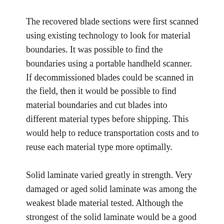The recovered blade sections were first scanned using existing technology to look for material boundaries. It was possible to find the boundaries using a portable handheld scanner. If decommissioned blades could be scanned in the field, then it would be possible to find material boundaries and cut blades into different material types before shipping. This would help to reduce transportation costs and to reuse each material type more optimally.
Solid laminate varied greatly in strength. Very damaged or aged solid laminate was among the weakest blade material tested. Although the strongest of the solid laminate would be a good candidate for reuse in structural applications, some screening would be needed to separate solid